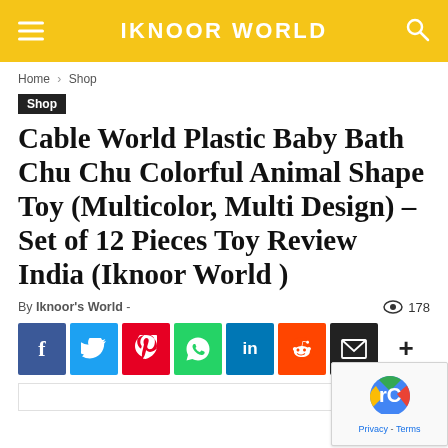IKNOOR WORLD
Home › Shop
Shop
Cable World Plastic Baby Bath Chu Chu Colorful Animal Shape Toy (Multicolor, Multi Design) – Set of 12 Pieces Toy Review India (Iknoor World )
By Iknoor's World - 178 views
[Figure (infographic): Social sharing buttons: Facebook, Twitter, Pinterest, WhatsApp, LinkedIn, Reddit, Email, and more (+)]